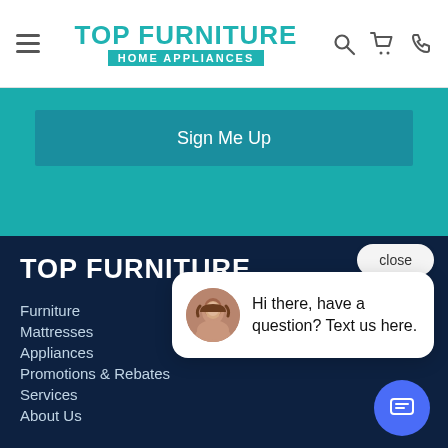TOP FURNITURE HOME APPLIANCES
Sign Me Up
TOP FURNITURE
Furniture
Mattresses
Appliances
Promotions & Rebates
Services
About Us
Hi there, have a question? Text us here.
close